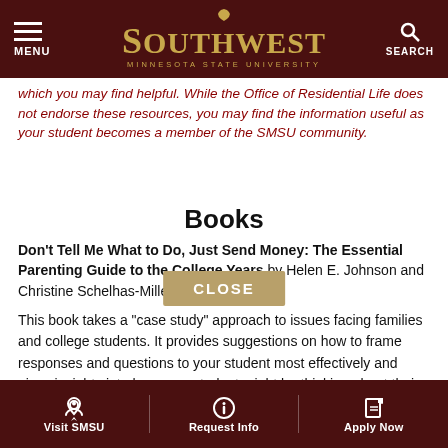Southwest Minnesota State University — MENU | SEARCH
which you may find helpful. While the Office of Residential Life does not endorse these resources, you may find the information useful as your student becomes a member of the SMSU community.
Books
Don't Tell Me What to Do, Just Send Money: The Essential Parenting Guide to the College Years by Helen E. Johnson and Christine Schelhas-Miller.
This book takes a "case study" approach to issues facing families and college students. It provides suggestions on how to frame responses and questions to your student most effectively and gives insights into how your student might be thinking about their experiences in college. The chapters on how to help students adjust to changes in the family wh[...] and how to utilize campus
Visit SMSU | Request Info | Apply Now